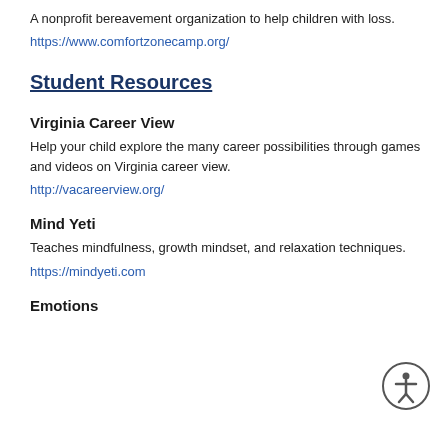A nonprofit bereavement organization to help children with loss.
https://www.comfortzonecamp.org/
Student Resources
Virginia Career View
Help your child explore the many career possibilities through games and videos on Virginia career view.
http://vacareerview.org/
Mind Yeti
Teaches mindfulness, growth mindset, and relaxation techniques.
https://mindyeti.com
Emotions